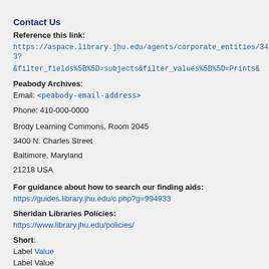Contact Us
Reference this link: https://aspace.library.jhu.edu/agents/corporate_entities/343? &filter_fields%5B%5D=subjects&filter_values%5B%5D=Prints&
Peabody Archives: Email: <peabody-email-address>
Phone: 410-000-0000
Brody Learning Commons, Room 2045
3400 N. Charles Street
Baltimore, Maryland
21218 USA
For guidance about how to search our finding aids: https://guides.library.jhu.edu/c.php?g=994933
Sheridan Libraries Policies: https://www.library.jhu.edu/policies/
Short: Label Value Label Value
View Staff Interface | Powered by ArchivesSpace v3.2.0